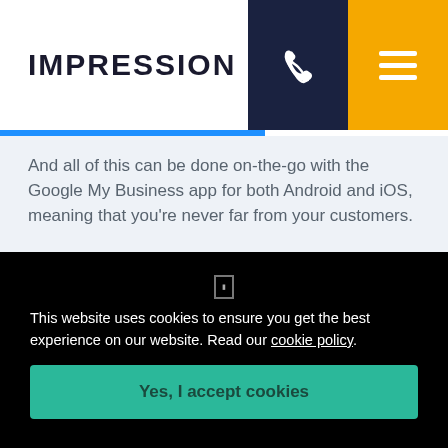IMPRESSION
And all of this can be done on-the-go with the Google My Business app for both Android and iOS, meaning that you’re never far from your customers.
3. Convert
Whilst giving the option to sign in within Iceland and
This website uses cookies to ensure you get the best experience on our website. Read our cookie policy.
Yes, I accept cookies